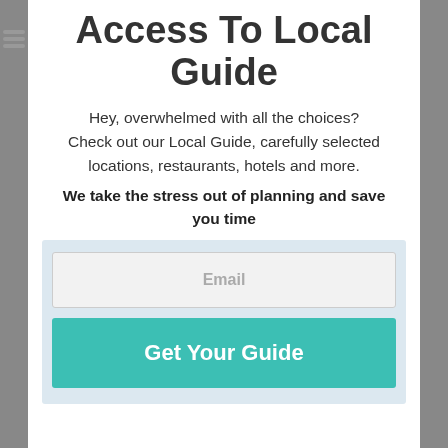Access To Local Guide
Hey, overwhelmed with all the choices? Check out our Local Guide, carefully selected locations, restaurants, hotels and more.
We take the stress out of planning and save you time
Email
Get Your Guide